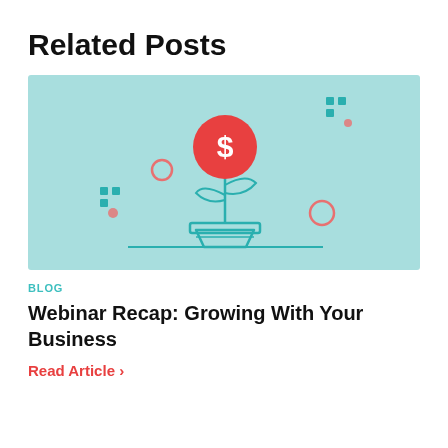Related Posts
[Figure (illustration): Light blue banner image showing a teal line-art illustration of a money plant — a potted plant with a red circle coin bearing a dollar sign as the flower head, leaves, a flower pot with a horizontal stripe, and a ground line. Decorative elements include teal square dots upper right, a coral/pink circle outline upper left, teal circle dots lower left with coral dot, and a coral ring lower right.]
BLOG
Webinar Recap: Growing With Your Business
Read Article  >